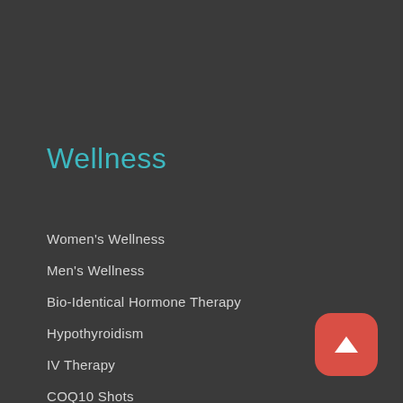Wellness
Women's Wellness
Men's Wellness
Bio-Identical Hormone Therapy
Hypothyroidism
IV Therapy
COQ10 Shots
Adrenal Fatigue
Allergies & Gut Health
Nutritional Health & Supplements